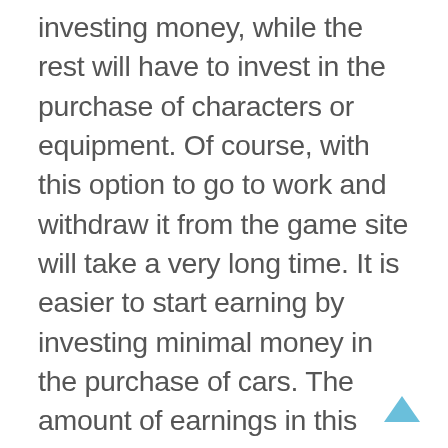investing money, while the rest will have to invest in the purchase of characters or equipment. Of course, with this option to go to work and withdraw it from the game site will take a very long time. It is easier to start earning by investing minimal money in the purchase of cars. The amount of earnings in this game (meaning the money derived from the payment system) is initially small. For example, sitting all day in the game on the car 4 level you can at best get only 120 rubles. But developing you will be able to earn from 500 to 800 rubles a day.